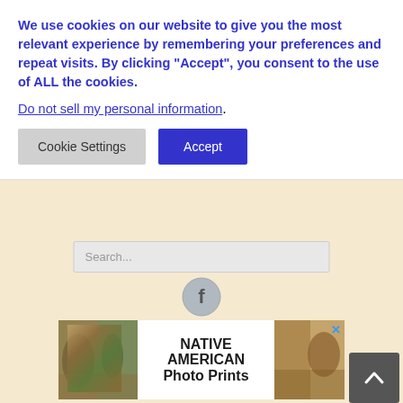We use cookies on our website to give you the most relevant experience by remembering your preferences and repeat visits. By clicking “Accept”, you consent to the use of ALL the cookies.
Do not sell my personal information.
[Figure (screenshot): Cookie consent banner with Cookie Settings and Accept buttons]
[Figure (screenshot): Search bar input field with placeholder text Search...]
[Figure (illustration): Facebook social media circular icon with letter f]
[Figure (photo): Native American Photo Prints advertisement banner with Native American themed images on left and right sides]
Oketo, Kansas
[Figure (photo): Partial photo of Oketo, Kansas showing outdoor scene with trees and sky]